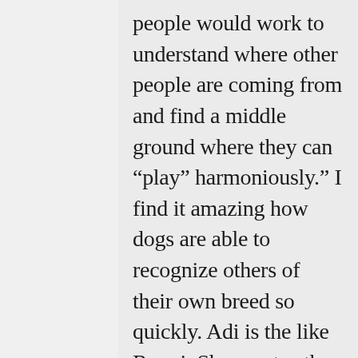people would work to understand where other people are coming from and find a middle ground where they can “play” harmoniously.” I find it amazing how dogs are able to recognize others of their own breed so quickly. Adi is the like Ronni. She greets other Labradors with a higher level of enthusiasm and it only takes a few sniffs before they are ready to begin to embark in some Labrador play